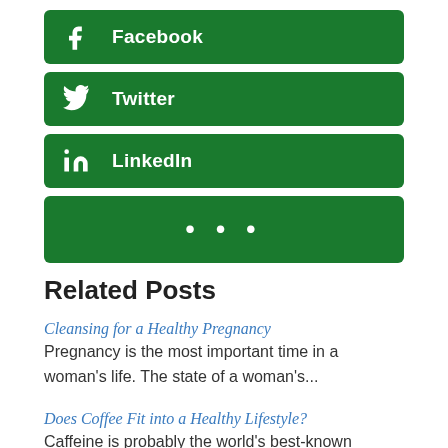[Figure (other): Facebook social share button (green)]
[Figure (other): Twitter social share button (green)]
[Figure (other): LinkedIn social share button (green)]
[Figure (other): More options social share button (green, three dots)]
Related Posts
Cleansing for a Healthy Pregnancy
Pregnancy is the most important time in a woman's life.  The state of a woman's...
Does Coffee Fit into a Healthy Lifestyle?
Caffeine is probably the world's best-known addiction. A good dose of caffeine can help to...